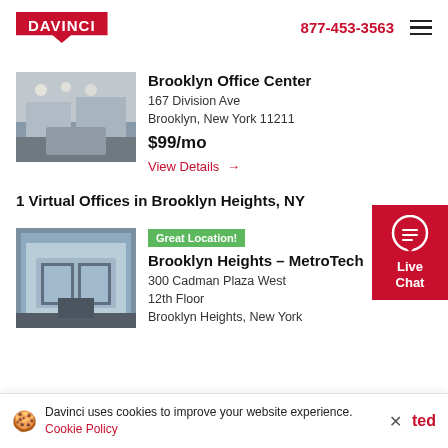DAVINCI | 877-453-3563
[Figure (photo): Interior photo of Brooklyn Office Center showing a modern reception/lobby area]
Brooklyn Office Center
167 Division Ave
Brooklyn, New York 11211
$99/mo
View Details →
1 Virtual Offices in Brooklyn Heights, NY
[Figure (photo): Exterior photo of Brooklyn Heights MetroTech building entrance with large glass doors]
Great Location!
Brooklyn Heights - MetroTech
300 Cadman Plaza West
12th Floor
Brooklyn Heights, New York
Davinci uses cookies to improve your website experience. Cookie Policy